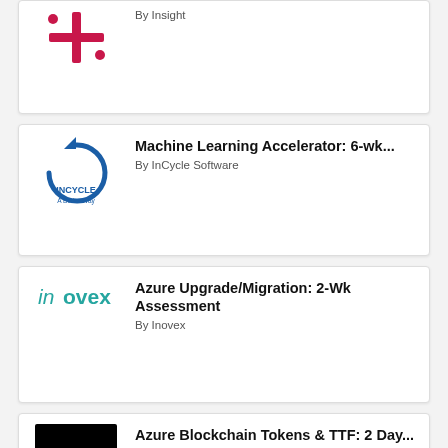[Figure (logo): Insight logo — pink/magenta calculator-like symbol with plus and division signs]
By Insight
[Figure (logo): InCycle Software logo — blue circular arrow symbol with text 'INCYCLE A Better Way']
Machine Learning Accelerator: 6-wk...
By InCycle Software
[Figure (logo): Inovex logo — teal/blue text 'inovex']
Azure Upgrade/Migration: 2-Wk Assessment
By Inovex
[Figure (logo): Envision Blockchain Solutions logo — black square with white chain-link icon]
Azure Blockchain Tokens & TTF: 2 Day...
By Envision Blockchain Solutions
[Figure (logo): Help4Access logo — 'Help4' text with orange '4']
Access Your Data Legacy ->Azure: (4-Wk)...
By Help4Access (Microsoft Access Support Services)